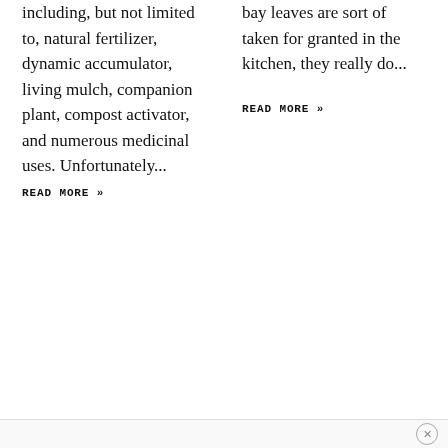including, but not limited to, natural fertilizer, dynamic accumulator, living mulch, companion plant, compost activator, and numerous medicinal uses. Unfortunately...
READ MORE »
bay leaves are sort of taken for granted in the kitchen, they really do...
READ MORE »